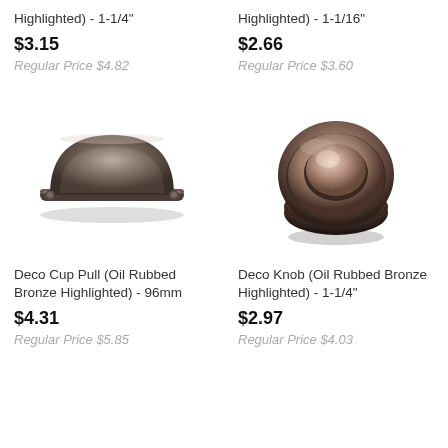Highlighted) - 1-1/4"
$3.15
Regular Price $4.82
Highlighted) - 1-1/16"
$2.66
Regular Price $3.60
[Figure (photo): Deco Cup Pull in Oil Rubbed Bronze Highlighted finish, 96mm, half-moon shaped cup pull]
[Figure (photo): Deco Knob in Oil Rubbed Bronze Highlighted finish, 1-1/4 inch, round mushroom-style knob with concentric ring detail]
Deco Cup Pull (Oil Rubbed Bronze Highlighted) - 96mm
$4.31
Regular Price $5.85
Deco Knob (Oil Rubbed Bronze Highlighted) - 1-1/4"
$2.97
Regular Price $4.03